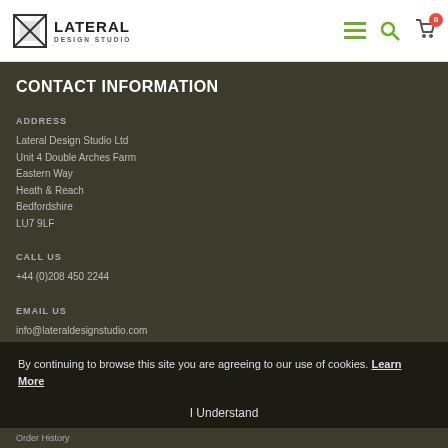Lateral Design Studio
CONTACT INFORMATION
ADDRESS
Lateral Design Studio Ltd
Unit 4 Double Arches Farm
Eastern Way
Heath & Reach
Bedfordshire
LU7 9LF
CALL US
+44 (0)208 450 2244
EMAIL US
info@lateraldesignstudio.com
By continuing to browse this site you are agreeing to our use of cookies. Learn More
I Understand
Order History